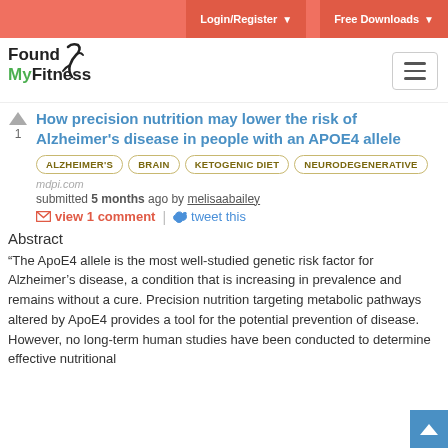Login/Register | Free Downloads
[Figure (logo): FoundMyFitness logo with stylized figure]
How precision nutrition may lower the risk of Alzheimer's disease in people with an APOE4 allele
ALZHEIMER'S
BRAIN
KETOGENIC DIET
NEURODEGENERATIVE
mdpi.com
submitted 5 months ago by melisaabailey
view 1 comment | tweet this
Abstract
“The ApoE4 allele is the most well-studied genetic risk factor for Alzheimer’s disease, a condition that is increasing in prevalence and remains without a cure. Precision nutrition targeting metabolic pathways altered by ApoE4 provides a tool for the potential prevention of disease. However, no long-term human studies have been conducted to determine effective nutritional